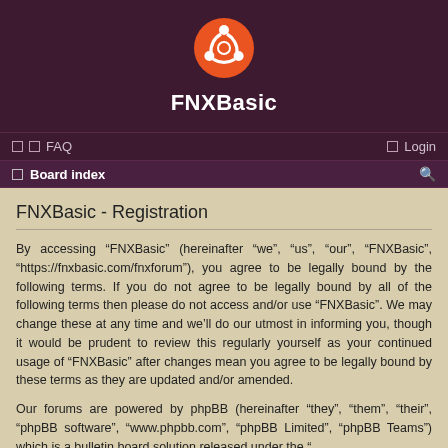[Figure (logo): Ubuntu logo - orange circle with white Ubuntu symbol]
FNXBasic
FAQ  Login
Board index
FNXBasic - Registration
By accessing “FNXBasic” (hereinafter “we”, “us”, “our”, “FNXBasic”, “https://fnxbasic.com/fnxforum”), you agree to be legally bound by the following terms. If you do not agree to be legally bound by all of the following terms then please do not access and/or use “FNXBasic”. We may change these at any time and we’ll do our utmost in informing you, though it would be prudent to review this regularly yourself as your continued usage of “FNXBasic” after changes mean you agree to be legally bound by these terms as they are updated and/or amended.
Our forums are powered by phpBB (hereinafter “they”, “them”, “their”, “phpBB software”, “www.phpbb.com”, “phpBB Limited”, “phpBB Teams”) which is a bulletin board solution released under the “ GNU General Public License v2” (hereinafter “GPL”) and can be